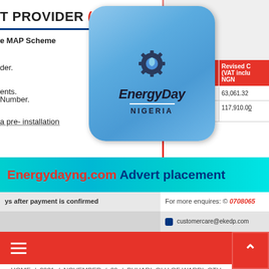T PROVIDER (MAP)
e MAP Scheme
der.
ents.
Number.
a pre-installation
| ype | Revised C (VAT inclu NGN |
| --- | --- |
| Phase Meter | 63,061.32 |
| Three-Phase Meter | 117,910.00 |
[Figure (logo): EnergyDay Nigeria logo - blue rounded square with oil drop and gear icon, text EnergyDay NIGERIA]
[Figure (infographic): Energydayng.com Advert placement banner in cyan/teal with red and blue text]
For more enquires: © 0708065
customercare@ekedp.com
ys after payment is confirmed
HOME / 2021 / NOVEMBER / 29 / BUHARI, OLU OF WARRI, OTH
EULOGIZE CHIEF LEEMON IKPEA FOR ENTRENCHING LOCAL CONTENT